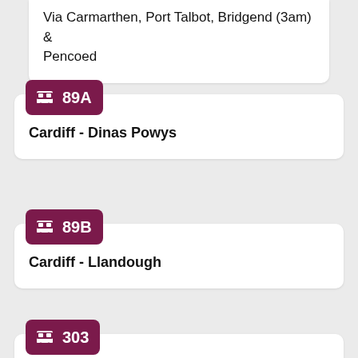Via Carmarthen, Port Talbot, Bridgend (3am) & Pencoed
[Figure (infographic): Bus route badge showing route 89A in dark magenta/purple]
Cardiff - Dinas Powys
[Figure (infographic): Bus route badge showing route 89B in dark magenta/purple]
Cardiff - Llandough
[Figure (infographic): Bus route badge showing route 303 in dark magenta/purple]
Llantwit Major - Bridgend
Via St Donats, Broughton, Wick, Ogmore-by-Sea